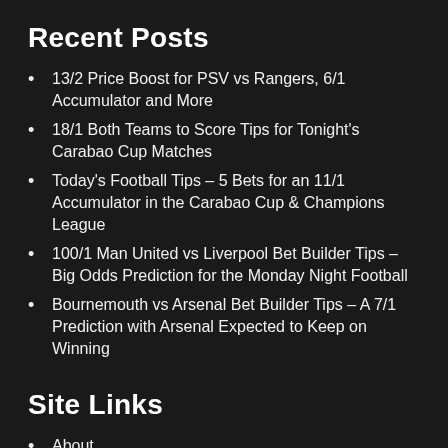Recent Posts
13/2 Price Boost for PSV vs Rangers, 6/1 Accumulator and More
18/1 Both Teams to Score Tips for Tonight's Carabao Cup Matches
Today's Football Tips – 5 Bets for an 11/1 Accumulator in the Carabao Cup & Champions League
100/1 Man United vs Liverpool Bet Builder Tips – Big Odds Prediction for the Monday Night Football
Bournemouth vs Arsenal Bet Builder Tips – A 7/1 Prediction with Arsenal Expected to Keep on Winning
Site Links
About
Contact Us
Site Terms